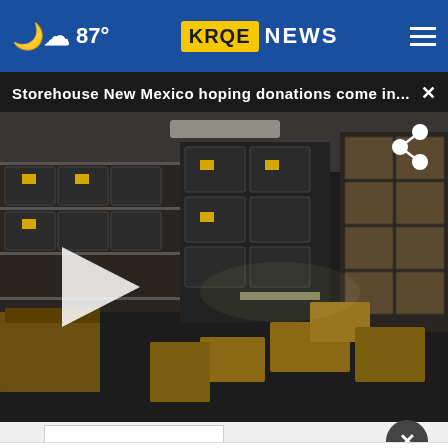87° KRQE NEWS
Storehouse New Mexico hoping donations come in...
[Figure (screenshot): Video thumbnail showing a warehouse stocked with dark shelving units loaded with black crates and cardboard boxes. A white play button triangle is visible on the left side. A share icon is in the upper right corner.]
More Stories ›
Get Up To $110 Off a Set of 4 Select Firestone Tires